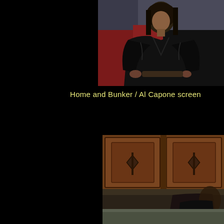[Figure (photo): Person in black leather jacket standing indoors, holding something, with a red surface visible behind them. Low resolution video frame screenshot.]
Home and Bunker / Al Capone screen
[Figure (photo): Person sitting in front of wooden kitchen cabinets with diamond-shaped handles. Low resolution video frame screenshot.]